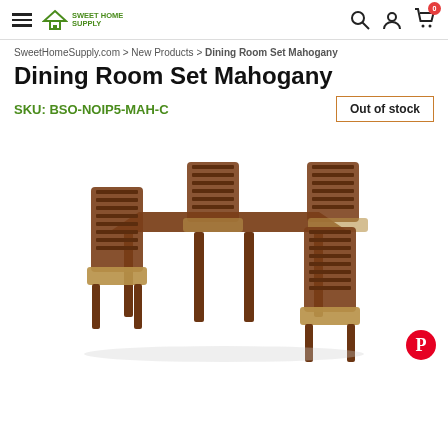Sweet Home Supply — navigation header with hamburger menu, logo, search, account, and cart icons
SweetHomeSupply.com > New Products > Dining Room Set Mahogany
Dining Room Set Mahogany
SKU: BSO-NOIP5-MAH-C
Out of stock
[Figure (photo): Product photo of a mahogany dining room set consisting of a rectangular table and four chairs with slatted backs and tan upholstered seats.]